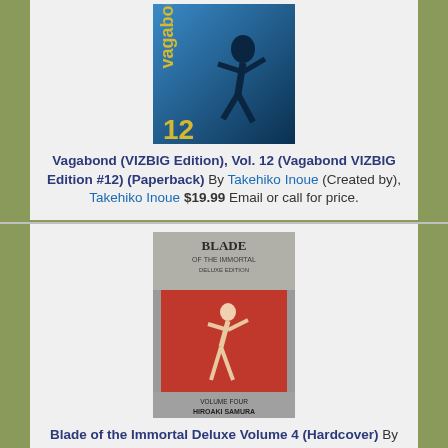[Figure (photo): Book cover of Vagabond VIZBIG Edition Vol. 12 — blue cover with Japanese manga art and large stylized number 12]
Vagabond (VIZBIG Edition), Vol. 12 (Vagabond VIZBIG Edition #12) (Paperback) By Takehiko Inoue (Created by), Takehiko Inoue $19.99 Email or call for price.
[Figure (photo): Book cover of Blade of the Immortal Deluxe Edition — grey cover with red inset panel showing manga action art, text 'Blade of the Immortal Deluxe Edition', 'Volume Four', 'Hiroaki Samura']
Blade of the Immortal Deluxe Volume 4 (Hardcover) By Hiroaki Samura, Hiroaki Samura (Illustrator) $49.99 Add to Wish List